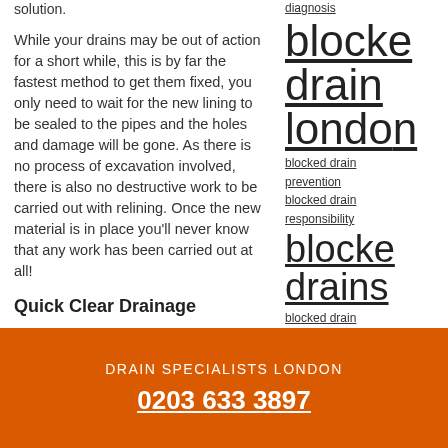solution.
While your drains may be out of action for a short while, this is by far the fastest method to get them fixed, you only need to wait for the new lining to be sealed to the pipes and the holes and damage will be gone. As there is no process of excavation involved, there is also no destructive work to be carried out with relining. Once the new material is in place you'll never know that any work has been carried out at all!
Quick Clear Drainage
diagnosis
blocked drain london
blocked drain prevention
blocked drain responsibility
blocked drains
blocked drain signs
blocked drains
DRAIN SPECIALISTS LONDON
0203 633 3897